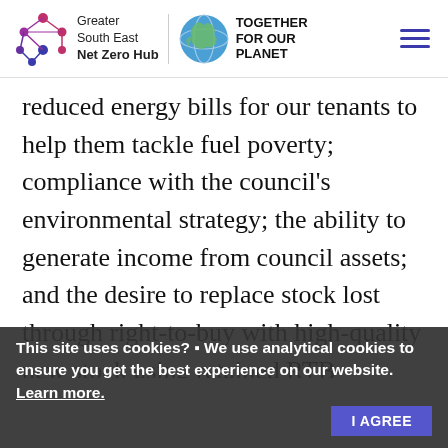Greater South East Net Zero Hub | TOGETHER FOR OUR PLANET
reduced energy bills for our tenants to help them tackle fuel poverty; compliance with the council's environmental strategy; the ability to generate income from council assets; and the desire to replace stock lost through right-to-buy with high-quality new stock using retained RTB receipts. The project had a construction cost of £14.9m and was funded through the council's ho...borrowing, reserves, and retained right-to-...
This site uses cookies? ▪ We use analytical cookies to ensure you get the best experience on our website. Learn more. I AGREE